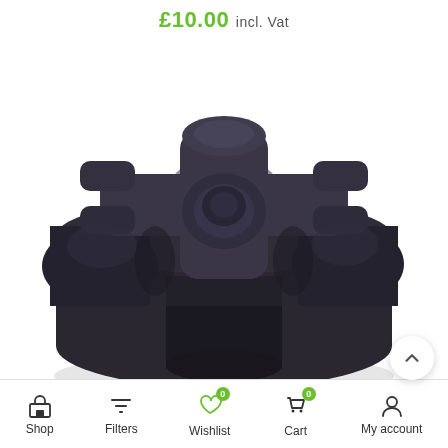£10.00 incl. Vat
[Figure (photo): A dark charcoal/black plastic plant pot riser or pot feet stand viewed from above at an angle, showing a cross-shaped top surface with four bulbous feet extending outward]
Shop | Filters | Wishlist (0) | Cart (0) | My account